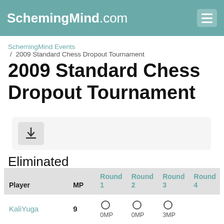SchemingMind.com
SchemingMind Events / 2009 Standard Chess Dropout Tournament
2009 Standard Chess Dropout Tournament
[Figure (other): Download button icon inside a light grey rounded box]
Eliminated
| Player | MP | Round 1 | Round 2 | Round 3 | Round 4 |
| --- | --- | --- | --- | --- | --- |
| KaliYuga | 9 | ○ 0MP | ○ 0MP | ○ 3MP |  |